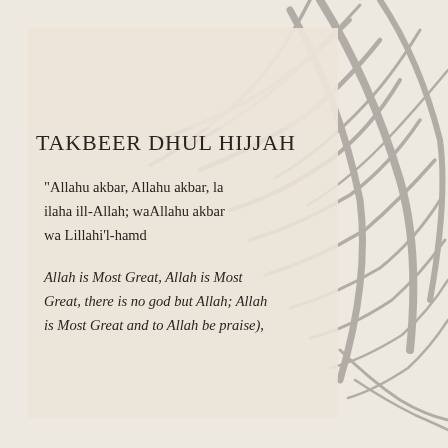[Figure (illustration): Background with palm leaf shadows in grey tones over a beige/cream surface, with a lighter beige card overlay on the left side]
TAKBEER DHUL HIJJAH
"Allahu akbar, Allahu akbar, la ilaha ill-Allah; waAllahu akbar wa Lillahi'l-hamd
Allah is Most Great, Allah is Most Great, there is no god but Allah; Allah is Most Great and to Allah be praise),